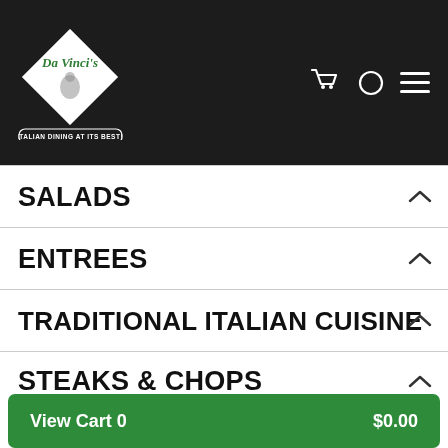[Figure (logo): Da Vinci's Italian Dining At Its Best! restaurant logo — white diamond shape with green script text 'Da Vinci's' and a figure illustration inside, with tagline badge below reading 'Italian Dining At Its Best!']
Da Vinci's Italian Dining At Its Best! — navigation header with cart, circle, and menu icons
SALADS
ENTREES
TRADITIONAL ITALIAN CUISINE
STEAKS & CHOPS
Served with your choice of pasta or garlic mashed potatoes & vegetable of the day.
View Cart 0   $0.00